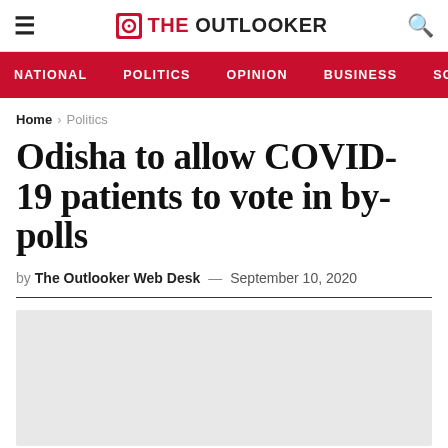THE OUTLOOKER — navigation header with hamburger menu, logo, and search icon
NATIONAL   POLITICS   OPINION   BUSINESS   SCI
Home > Politics
Odisha to allow COVID-19 patients to vote in by-polls
by The Outlooker Web Desk — September 10, 2020
[Figure (photo): Article image placeholder (light gray box)]